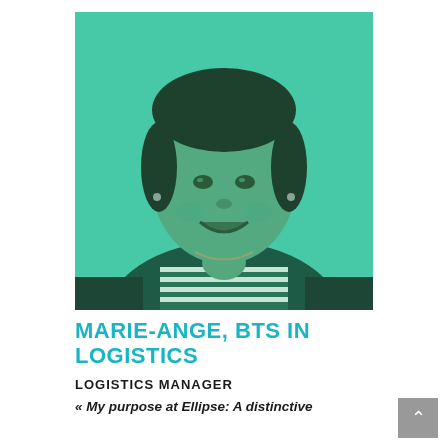[Figure (photo): Portrait photo of Marie-Ange, a woman smiling at the camera, with dark hair, wearing a striped top and dark cardigan, against a teal/green background with a green color filter applied]
MARIE-ANGE, BTS IN LOGISTICS
LOGISTICS MANAGER
« My purpose at Ellipse: A distinctive